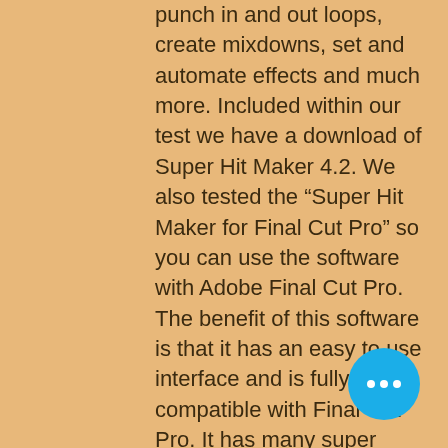punch in and out loops, create mixdowns, set and automate effects and much more. Included within our test we have a download of Super Hit Maker 4.2. We also tested the “Super Hit Maker for Final Cut Pro” so you can use the software with Adobe Final Cut Pro. The benefit of this software is that it has an easy to use interface and is fully compatible with Final Cut Pro. It has many super useful tools such as the ability to create normal, loop and super hit playlists, import and export sessions, add and edit track names, add and edit track automation, easily change the length of tracks, track length editing, drag and drop tracks, edit and master your tracks, add, edit, and remove effects and much more.
Super Hit Maker 5.1 Software Torrent -. Also, you can lock and unlock your tracks at any time and while locked you can access in the track bar. You can easily find the file on the home page of the website which
[Figure (other): Blue circular floating action button with three white dots (ellipsis/more options icon)]